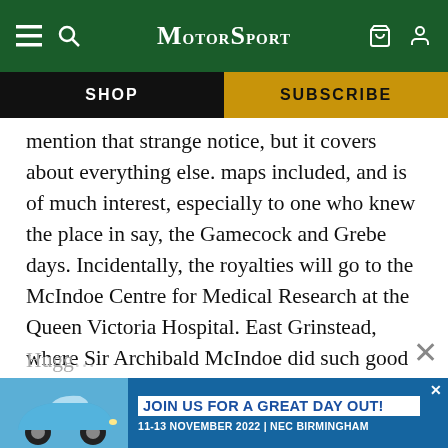MotorSport
SHOP
SUBSCRIBE
mention that strange notice, but it covers about everything else. maps included, and is of much interest, especially to one who knew the place in say, the Gamecock and Grebe days. Incidentally, the royalties will go to the McIndoe Centre for Medical Research at the Queen Victoria Hospital. East Grinstead, where Sir Archibald McIndoe did such good work restoring RAF aircrew who suffered severe burns during the war, and who was “adopted” by the Kenley personnel, which is a good reason for buying it, and it contains a reference to Sgt
Hugg… whos…
[Figure (screenshot): Advertisement banner: Blue Porsche 911 car image on left, text 'JOIN US FOR A GREAT DAY OUT! 11-13 NOVEMBER 2022 | NEC BIRMINGHAM' on blue background]